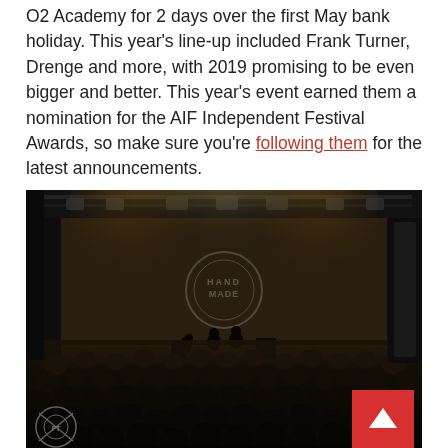O2 Academy for 2 days over the first May bank holiday. This year's line-up included Frank Turner, Drenge and more, with 2019 promising to be even bigger and better. This year's event earned them a nomination for the AIF Independent Festival Awards, so make sure you're following them for the latest announcements.
[Figure (photo): Concert photo showing a band performing on a brightly lit stage with smoke/haze effects and a circular logo on the backdrop reading 'HANDMADE'. A large crowd of silhouetted audience members fills the foreground. Stage rigging and lighting equipment are visible above. A red scroll-to-top button appears in the bottom right corner. A circular watermark/logo appears in the bottom left.]